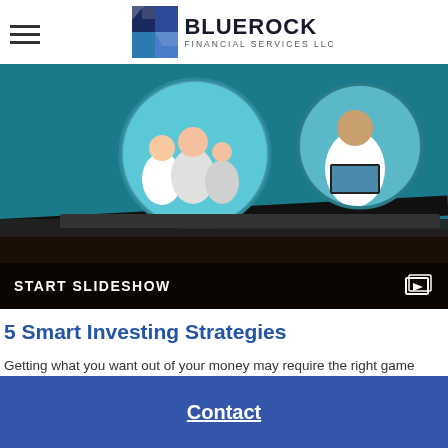[Figure (logo): Bluerock Financial Services LLC logo with blue geometric icon and text]
[Figure (photo): Hero image showing a tablet or screen displaying circular photos of happy families and individuals on a teal/blue background, partially in shadow on a wooden surface. An overlay bar reads START SLIDESHOW with a slideshow icon.]
5 Smart Investing Strategies
Getting what you want out of your money may require the right game plan.
Contact